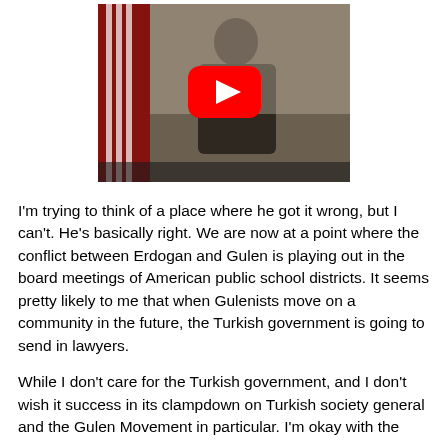[Figure (screenshot): YouTube video thumbnail showing a person in a dark jacket speaking at a podium with an American flag in the background. A red YouTube play button is overlaid in the center.]
I'm trying to think of a place where he got it wrong, but I can't. He's basically right. We are now at a point where the conflict between Erdogan and Gulen is playing out in the board meetings of American public school districts. It seems pretty likely to me that when Gulenists move on a community in the future, the Turkish government is going to send in lawyers.
While I don't care for the Turkish government, and I don't wish it success in its clampdown on Turkish society general and the Gulen Movement in particular.  I'm okay with the